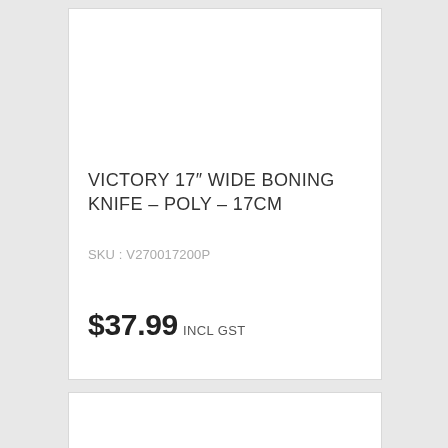VICTORY 17″ WIDE BONING KNIFE – POLY – 17CM
SKU : V270017200P
$37.99 incl GST